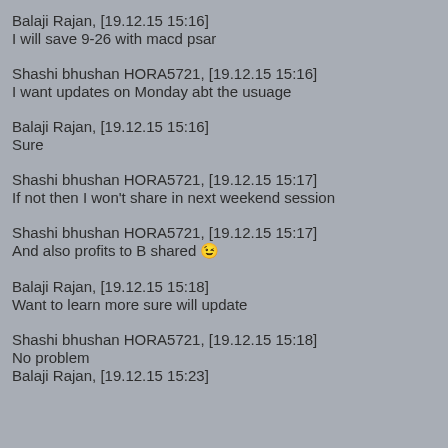Balaji Rajan, [19.12.15 15:16]
I will save 9-26 with macd psar
Shashi bhushan HORA5721, [19.12.15 15:16]
I want updates on Monday abt the usuage
Balaji Rajan, [19.12.15 15:16]
Sure
Shashi bhushan HORA5721, [19.12.15 15:17]
If not then I won't share in next weekend session
Shashi bhushan HORA5721, [19.12.15 15:17]
And also profits to B shared 😊
Balaji Rajan, [19.12.15 15:18]
Want to learn more sure will update
Shashi bhushan HORA5721, [19.12.15 15:18]
No problem
Balaji Rajan, [19.12.15 15:23]